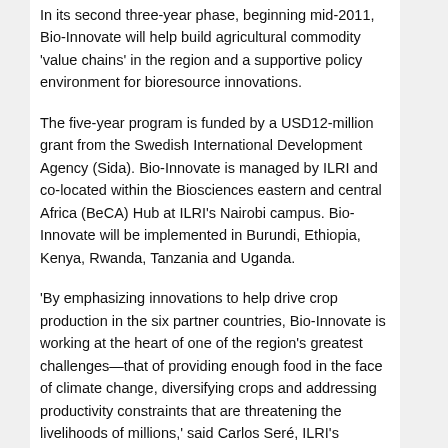In its second three-year phase, beginning mid-2011, Bio-Innovate will help build agricultural commodity 'value chains' in the region and a supportive policy environment for bioresource innovations.
The five-year program is funded by a USD12-million grant from the Swedish International Development Agency (Sida). Bio-Innovate is managed by ILRI and co-located within the Biosciences eastern and central Africa (BeCA) Hub at ILRI's Nairobi campus. Bio-Innovate will be implemented in Burundi, Ethiopia, Kenya, Rwanda, Tanzania and Uganda.
'By emphasizing innovations to help drive crop production in the six partner countries, Bio-Innovate is working at the heart of one of the region's greatest challenges—that of providing enough food in the face of climate change, diversifying crops and addressing productivity constraints that are threatening the livelihoods of millions,' said Carlos Seré, ILRI's director general.
An increasingly large number of poor people in the